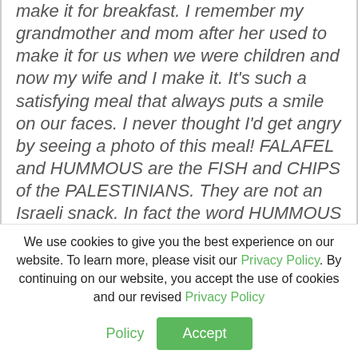make it for breakfast. I remember my grandmother and mom after her used to make it for us when we were children and now my wife and I make it. It's such a satisfying meal that always puts a smile on our faces. I never thought I'd get angry by seeing a photo of this meal! FALAFEL and HUMMOUS are the FISH and CHIPS of the PALESTINIANS. They are not an Israeli snack. In fact the word HUMMOUS itself means CHECKPEAS in ARABIC. So how can it be Hebrew? How can it be Israeli? Shame on you Waitrose for cancelling a whole nation, a
We use cookies to give you the best experience on our website. To learn more, please visit our Privacy Policy. By continuing on our website, you accept the use of cookies and our revised Privacy Policy